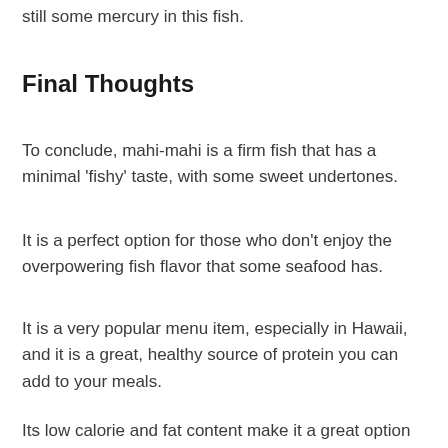still some mercury in this fish.
Final Thoughts
To conclude, mahi-mahi is a firm fish that has a minimal 'fishy' taste, with some sweet undertones.
It is a perfect option for those who don't enjoy the overpowering fish flavor that some seafood has.
It is a very popular menu item, especially in Hawaii, and it is a great, healthy source of protein you can add to your meals.
Its low calorie and fat content make it a great option for